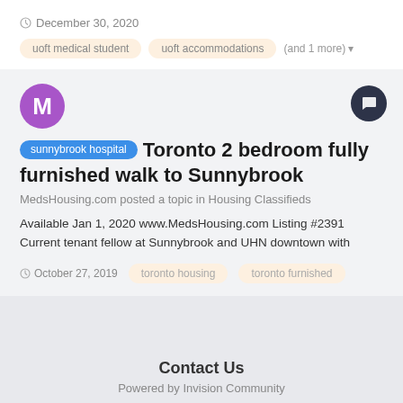December 30, 2020
uoft medical student  uoft accommodations  (and 1 more)
sunnybrook hospital Toronto 2 bedroom fully furnished walk to Sunnybrook
MedsHousing.com posted a topic in Housing Classifieds
Available Jan 1, 2020 www.MedsHousing.com Listing #2391 Current tenant fellow at Sunnybrook and UHN downtown with
October 27, 2019  toronto housing  toronto furnished
Contact Us
Powered by Invision Community